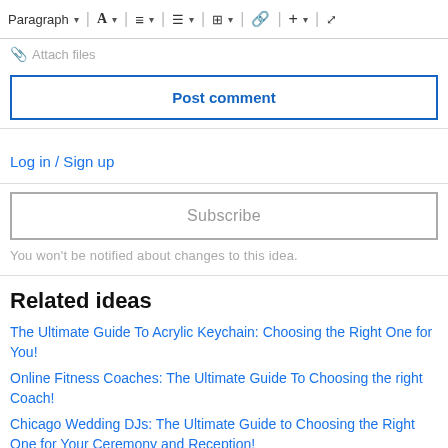[Figure (screenshot): Text editor toolbar with Paragraph dropdown, font, alignment, list, table, link, add, and expand icons]
Attach files
Post comment
Log in / Sign up
Subscribe
You won't be notified about changes to this idea.
Related ideas
The Ultimate Guide To Acrylic Keychain: Choosing the Right One for You!
Online Fitness Coaches: The Ultimate Guide To Choosing the right Coach!
Chicago Wedding DJs: The Ultimate Guide to Choosing the Right One for Your Ceremony and Reception!
The Ultimate Guide To Outsourcing Software Development Projects!